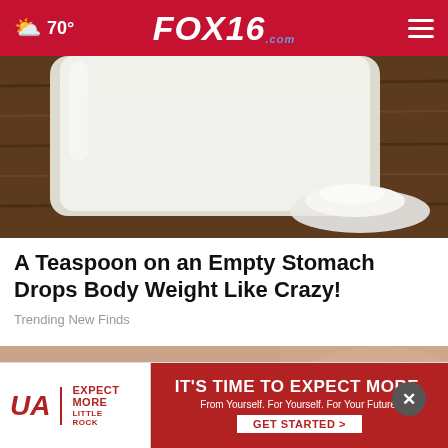70° FOX16.com
[Figure (photo): Close-up photo of white powder in a glass jar and a small pile of white powder on a wooden surface]
A Teaspoon on an Empty Stomach Drops Body Weight Like Crazy!
Trending New Finds
[Figure (photo): Close-up photo of aged or wrinkled skin texture in brown/grey tones]
[Figure (other): UA Little Rock advertisement banner: IT'S TIME TO EXPECT MORE. From Yourself. For Yourself. For Your Future. GET STARTED >]